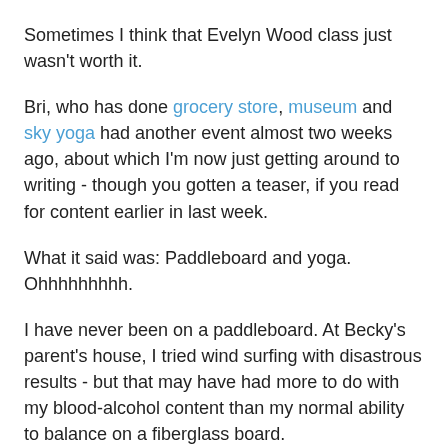Sometimes I think that Evelyn Wood class just wasn't worth it.
Bri, who has done grocery store, museum and sky yoga had another event almost two weeks ago, about which I'm now just getting around to writing - though you gotten a teaser, if you read for content earlier in last week.
What it said was: Paddleboard and yoga.  Ohhhhhhhhh.
I have never been on a paddleboard. At Becky's parent's house, I tried wind surfing with disastrous results - but that may have had more to do with my blood-alcohol content than my normal ability to balance on a fiberglass board.
Or maybe this time it was a bit easier that due to yoga, I have a better sense of balance itself. And maybe because I signed a waiver saying I was not allowed to drink and be on the lake at the same time. Silly details.
I was up on the board in seconds. I'd say 10 minutes in, my